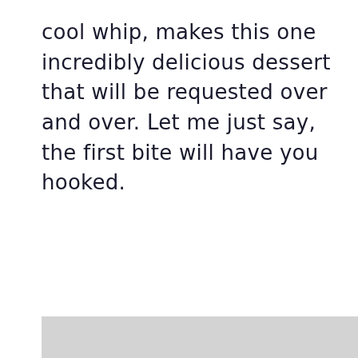cool whip, makes this one incredibly delicious dessert that will be requested over and over. Let me just say, the first bite will have you hooked.
[Figure (other): Gray rectangular bar at the bottom of the page, partially visible, appears to be the top edge of an image or content block.]